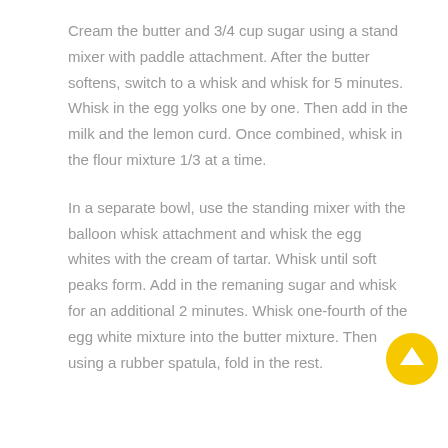Cream the butter and 3/4 cup sugar using a stand mixer with paddle attachment. After the butter softens, switch to a whisk and whisk for 5 minutes. Whisk in the egg yolks one by one. Then add in the milk and the lemon curd. Once combined, whisk in the flour mixture 1/3 at a time.
In a separate bowl, use the standing mixer with the balloon whisk attachment and whisk the egg whites with the cream of tartar. Whisk until soft peaks form. Add in the remaning sugar and whisk for an additional 2 minutes. Whisk one-fourth of the egg white mixture into the butter mixture. Then using a rubber spatula, fold in the rest.